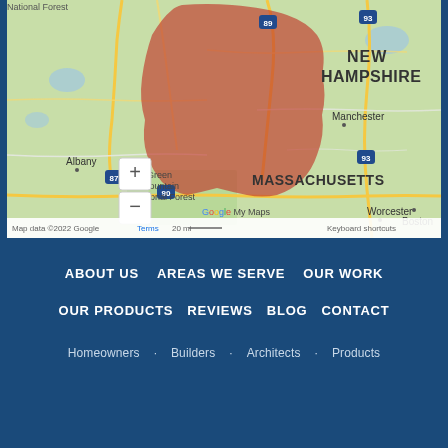[Figure (map): Google My Maps showing New England region with a red shaded service area covering Vermont, New Hampshire, and parts of surrounding states. Shows Albany, Manchester, Worcester, Boston labels. Map data ©2022 Google. Zoom controls (+/-) visible.]
ABOUT US   AREAS WE SERVE   OUR WORK
OUR PRODUCTS   REVIEWS   BLOG   CONTACT
Homeowners   Builders   Architects   Products